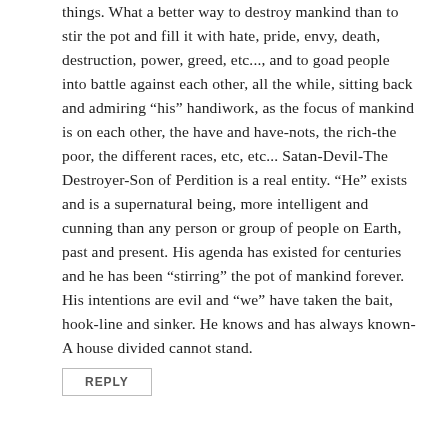things. What a better way to destroy mankind than to stir the pot and fill it with hate, pride, envy, death, destruction, power, greed, etc..., and to goad people into battle against each other, all the while, sitting back and admiring “his” handiwork, as the focus of mankind is on each other, the have and have-nots, the rich-the poor, the different races, etc, etc... Satan-Devil-The Destroyer-Son of Perdition is a real entity. “He” exists and is a supernatural being, more intelligent and cunning than any person or group of people on Earth, past and present. His agenda has existed for centuries and he has been “stirring” the pot of mankind forever. His intentions are evil and “we” have taken the bait, hook-line and sinker. He knows and has always known-A house divided cannot stand.
REPLY